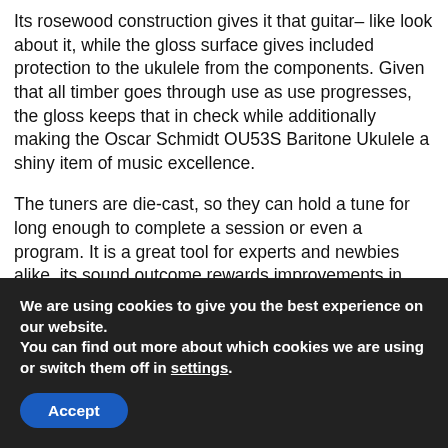Its rosewood construction gives it that guitar– like look about it, while the gloss surface gives included protection to the ukulele from the components. Given that all timber goes through use as use progresses, the gloss keeps that in check while additionally making the Oscar Schmidt OU53S Baritone Ukulele a shiny item of music excellence.
The tuners are die-cast, so they can hold a tune for long enough to complete a session or even a program. It is a great tool for experts and newbies alike, its sound outcome rewards improvements in method and also can be a significant resource of inspiration f...
We are using cookies to give you the best experience on our website.
You can find out more about which cookies we are using or switch them off in settings.
Accept